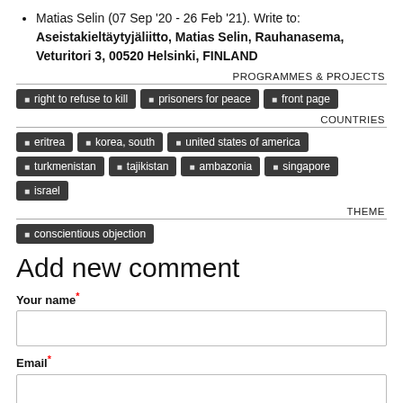Matias Selin (07 Sep '20 - 26 Feb '21). Write to: Aseistakieltäytyjäliitto, Matias Selin, Rauhanasema, Veturitori 3, 00520 Helsinki, FINLAND
PROGRAMMES & PROJECTS
right to refuse to kill  |  prisoners for peace  |  front page
COUNTRIES
eritrea  |  korea, south  |  united states of america  |  turkmenistan  |  tajikistan  |  ambazonia  |  singapore  |  israel
THEME
conscientious objection
Add new comment
Your name *
Email *